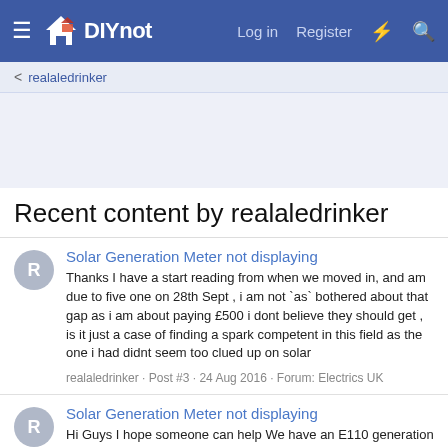DIYnot — Log in  Register
realaledrinker
Recent content by realaledrinker
Solar Generation Meter not displaying
Thanks I have a start reading from when we moved in, and am due to five one on 28th Sept , i am not `as` bothered about that gap as i am about paying £500 i dont believe they should get , is it just a case of finding a spark competent in this field as the one i had didnt seem too clued up on solar
realaledrinker · Post #3 · 24 Aug 2016 · Forum: Electrics UK
Solar Generation Meter not displaying
Hi Guys I hope someone can help We have an E110 generation